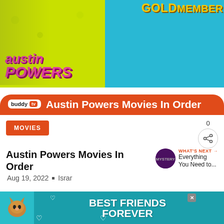[Figure (photo): Hero image banner for Austin Powers Movies article. Left half shows yellow-green background with Austin Powers movie poster characters. Right half shows blue background with Goldmember/Goldeneye characters. Overlaid text in bottom bar reads 'buddy tv' badge and 'Austin Powers Movies In Order' in white on red/orange pill-shaped banner. 'AUSTIN POWERS' in pink lettering on left; 'GOLDMEMBER' text in yellow at top right.]
MOVIES
0
Austin Powers Movies In Order
WHAT'S NEXT → Everything You Need to...
Aug 19, 2022 . Israr
[Figure (photo): Ad banner at bottom: teal/cyan background with a cat illustration on the left, bold white text reading 'BEST FRIENDS FOREVER' in the center, heart icons, close button (X), and partial text on right edge.]